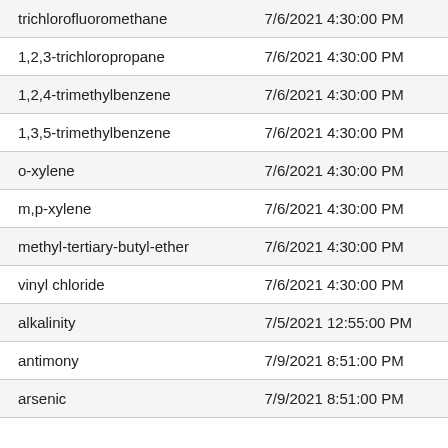| trichlorofluoromethane | 7/6/2021 4:30:00 PM |
| 1,2,3-trichloropropane | 7/6/2021 4:30:00 PM |
| 1,2,4-trimethylbenzene | 7/6/2021 4:30:00 PM |
| 1,3,5-trimethylbenzene | 7/6/2021 4:30:00 PM |
| o-xylene | 7/6/2021 4:30:00 PM |
| m,p-xylene | 7/6/2021 4:30:00 PM |
| methyl-tertiary-butyl-ether | 7/6/2021 4:30:00 PM |
| vinyl chloride | 7/6/2021 4:30:00 PM |
| alkalinity | 7/5/2021 12:55:00 PM |
| antimony | 7/9/2021 8:51:00 PM |
| arsenic | 7/9/2021 8:51:00 PM |